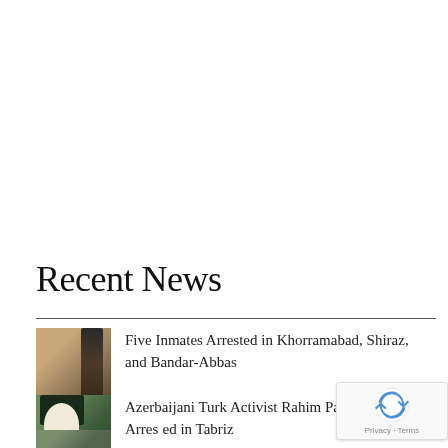Recent News
Five Inmates Arrested in Khorramabad, Shiraz, and Bandar-Abbas
Azerbaijani Turk Activist Rahim Panahian Arrested in Tabriz
[Figure (photo): Partial news thumbnail at bottom]